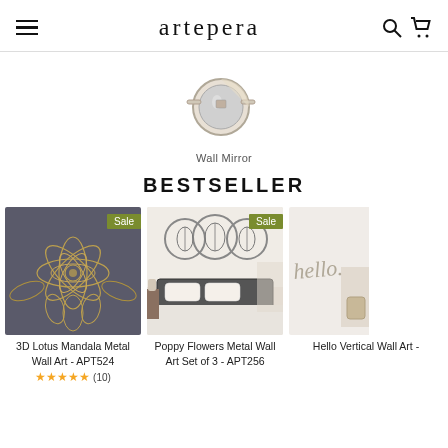artepera
[Figure (illustration): Wall Mirror product category icon — circular mirror illustration with decorative mount, grey and beige tones]
Wall Mirror
BESTSELLER
[Figure (photo): 3D Lotus Mandala Metal Wall Art on dark grey background with gold metallic finish, Sale badge]
3D Lotus Mandala Metal Wall Art - APT524
[Figure (photo): Poppy Flowers Metal Wall Set of 3 circular frames above a bed in a bedroom setting, Sale badge]
Poppy Flowers Metal Wall Art Set of 3 - APT256
[Figure (photo): Hello Vertical Wall Art partially visible on right side of page]
Hello Vertical Wall Art -